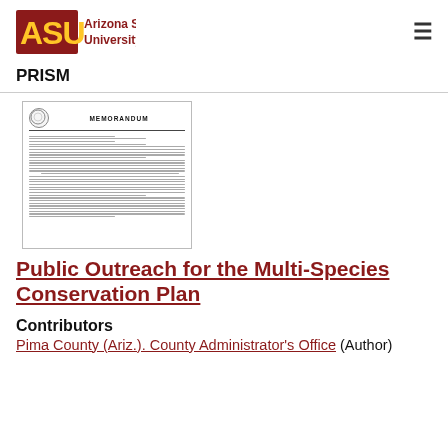ASU Arizona State University | PRISM
[Figure (other): Thumbnail image of a government memorandum document with a seal and 'MEMORANDUM' heading, showing body text lines]
Public Outreach for the Multi-Species Conservation Plan
Contributors
Pima County (Ariz.). County Administrator's Office (Author)